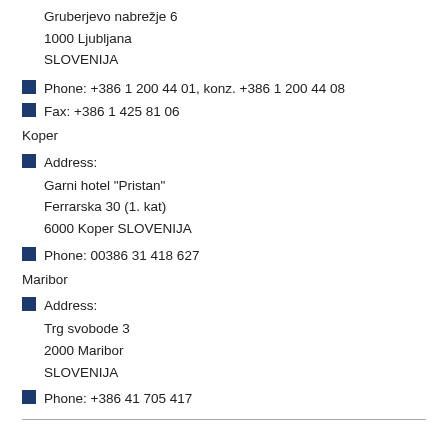Gruberjevo nabrežje 6
1000 Ljubljana
SLOVENIJA
Phone: +386 1 200 44 01, konz. +386 1 200 44 08
Fax: +386 1 425 81 06
Koper
Address:
Garni hotel "Pristan"
Ferrarska 30 (1. kat)
6000 Koper SLOVENIJA
Phone: 00386 31 418 627
Maribor
Address:
Trg svobode 3
2000 Maribor
SLOVENIJA
Phone: +386 41 705 417